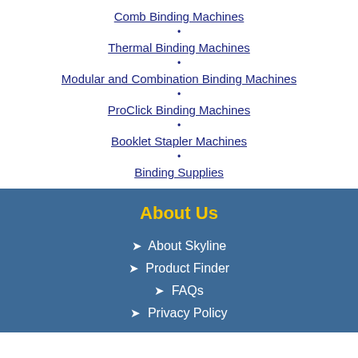Comb Binding Machines
Thermal Binding Machines
Modular and Combination Binding Machines
ProClick Binding Machines
Booklet Stapler Machines
Binding Supplies
About Us
➤ About Skyline
➤ Product Finder
➤ FAQs
➤ Privacy Policy